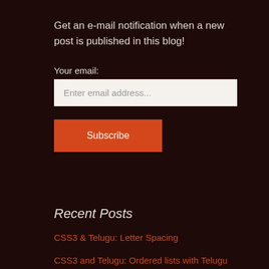Get an e-mail notification when a new post is published in this blog!
Your email:
Enter email address...
Subscribe
Recent Posts
CSS3 & Telugu: Letter Spacing
CSS3 and Telugu: Ordered lists with Telugu numerals and alphabet